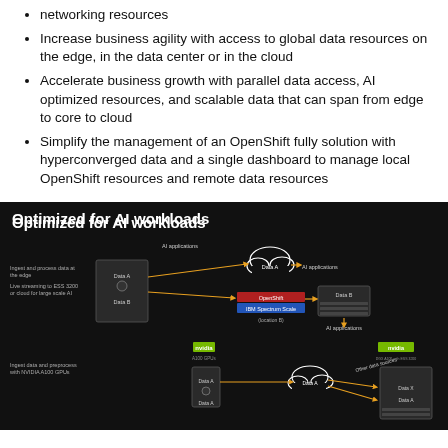networking resources
Increase business agility with access to global data resources on the edge, in the data center or in the cloud
Accelerate business growth with parallel data access, AI optimized resources, and scalable data that can span from edge to core to cloud
Simplify the management of an OpenShift fully solution with hyperconverged data and a single dashboard to manage local OpenShift resources and remote data resources
[Figure (infographic): Dark-background diagram titled 'Optimized for AI workloads' showing two scenarios: top scenario depicts ingest and process data at the edge with live streaming to ESS 3200 or cloud for large scale AI, with data flows between a server (Data A/Data B), cloud node (Data A), OpenShift/IBM Spectrum Scale at Location B, and AI applications. Bottom scenario shows ingest data and preprocess with NVIDIA A100 GPUs, with NVIDIA A100 GPUs logo, cloud (Data A), Other data sources label, and NVIDIA DGX A100 with ESS 3200.]